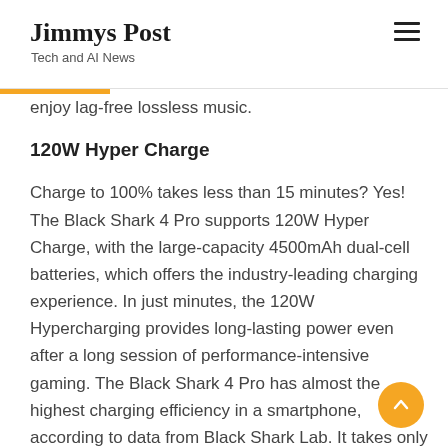Jimmys Post
Tech and AI News
enjoy lag-free lossless music.
120W Hyper Charge
Charge to 100% takes less than 15 minutes? Yes! The Black Shark 4 Pro supports 120W Hyper Charge, with the large-capacity 4500mAh dual-cell batteries, which offers the industry-leading charging experience. In just minutes, the 120W Hypercharging provides long-lasting power even after a long session of performance-intensive gaming. The Black Shark 4 Pro has almost the highest charging efficiency in a smartphone, according to data from Black Shark Lab. It takes only 5 minutes to charge to 50%, and less than 15